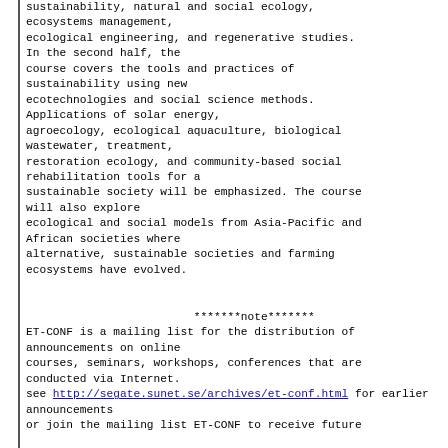sustainability, natural and social ecology, ecosystems management, ecological engineering, and regenerative studies. In the second half, the course covers the tools and practices of sustainability using new ecotechnologies and social science methods. Applications of solar energy, agroecology, ecological aquaculture, biological wastewater, treatment, restoration ecology, and community-based social rehabilitation tools for a sustainable society will be emphasized. The course will also explore ecological and social models from Asia-Pacific and African societies where alternative, sustainable societies and farming ecosystems have evolved.
*******note******* ET-CONF is a mailing list for the distribution of announcements on online courses, seminars, workshops, conferences that are conducted via Internet. see http://segate.sunet.se/archives/et-conf.html for earlier announcements or join the mailing list ET-CONF to receive future